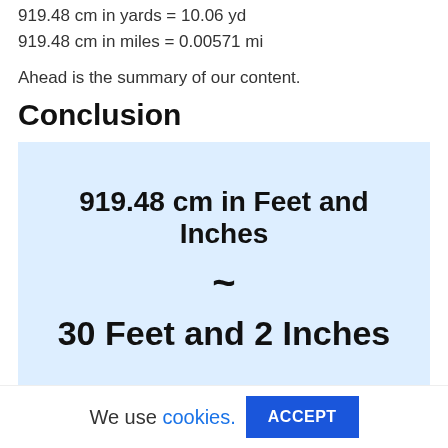919.48 cm in yards = 10.06 yd
919.48 cm in miles = 0.00571 mi
Ahead is the summary of our content.
Conclusion
[Figure (infographic): Light blue box displaying '919.48 cm in Feet and Inches ~ 30 Feet and 2 Inches']
More about the measures related to 919.48 cm in ' and "
We use cookies. ACCEPT